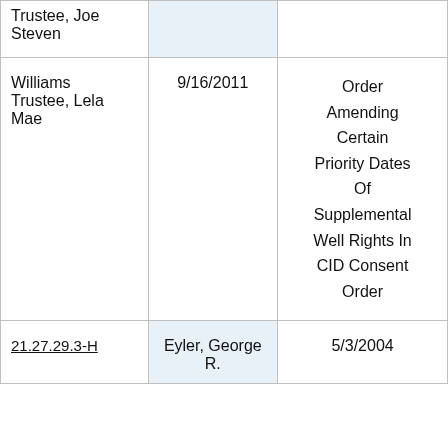| Trustee, Joe Steven |  |  |
| Williams Trustee, Lela Mae | 9/16/2011 | Order Amending Certain Priority Dates Of Supplemental Well Rights In CID Consent Order |
| 21.27.29.3-H | Eyler, George R. | 5/3/2004 |